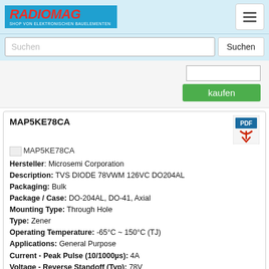[Figure (logo): RADIOMAG logo - blue background with red italic bold text and white subtitle 'SHOP VON ELEKTRONISCHEN BAUELEMENTEN']
Suchen
kaufen
MAP5KE78CA
Hersteller: Microsemi Corporation
Description: TVS DIODE 78VWM 126VC DO204AL
Packaging: Bulk
Package / Case: DO-204AL, DO-41, Axial
Mounting Type: Through Hole
Type: Zener
Operating Temperature: -65°C ~ 150°C (TJ)
Applications: General Purpose
Current - Peak Pulse (10/1000µs): 4A
Voltage - Reverse Standoff (Typ): 78V
Supplier Device Package: DO-204AL (DO-41)
Bidirectional Channels: 1
Voltage - Breakdown (Min): 86.7V
Voltage - Clamping (Max) @ Ipp: 126V
Power - Peak Pulse: 500W